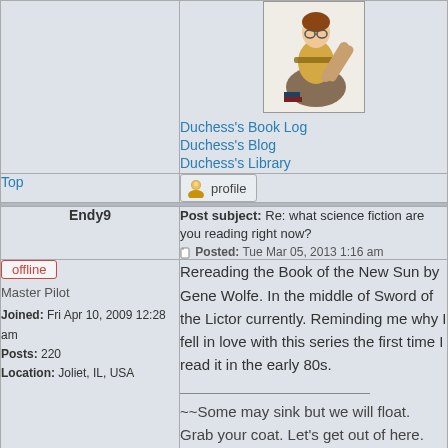[Figure (photo): Avatar image of a woman reading books, posed in pin-up style]
Duchess's Book Log
Duchess's Blog
Duchess's Library
Top
[Figure (other): Profile button with user icon]
Endy9
Post subject: Re: what science fiction are you reading right now?
Posted: Tue Mar 05, 2013 1:16 am
offline
Master Pilot
Joined: Fri Apr 10, 2009 12:28 am
Posts: 220
Location: Joliet, IL, USA
Rereading the Book of the New Sun by Gene Wolfe. In the middle of Sword of the Lictor currently. Reminding me why I fell in love with this series the first time I read it in the early 80s.

~~Some may sink but we will float. Grab your coat. Let's get out of here. I'm your witness, you're my Mutineer~~ Warren Zevon